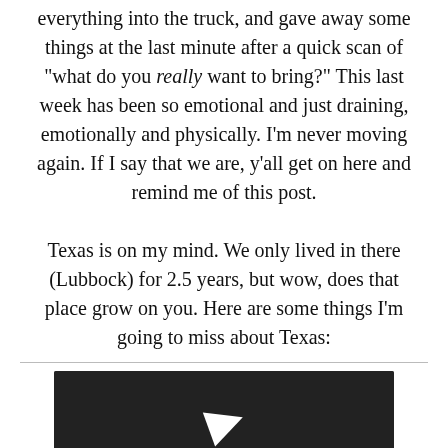everything into the truck, and gave away some things at the last minute after a quick scan of "what do you really want to bring?" This last week has been so emotional and just draining, emotionally and physically. I'm never moving again. If I say that we are, y'all get on here and remind me of this post. Texas is on my mind. We only lived in there (Lubbock) for 2.5 years, but wow, does that place grow on you. Here are some things I'm going to miss about Texas:
[Figure (other): Embedded video player showing a dark background with a play button arrow icon. Below the video area, a grey panel reads 'The video cannot be played in this']